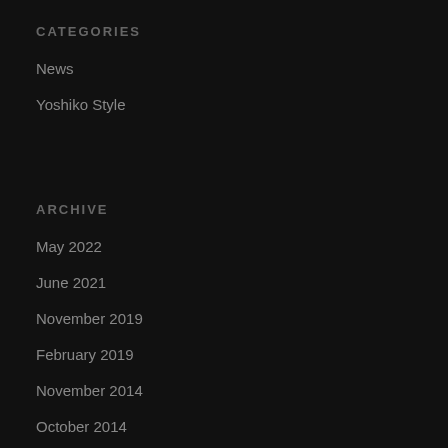CATEGORIES
News
Yoshiko Style
ARCHIVE
May 2022
June 2021
November 2019
February 2019
November 2014
October 2014
September 2014
August 2014
July 2014